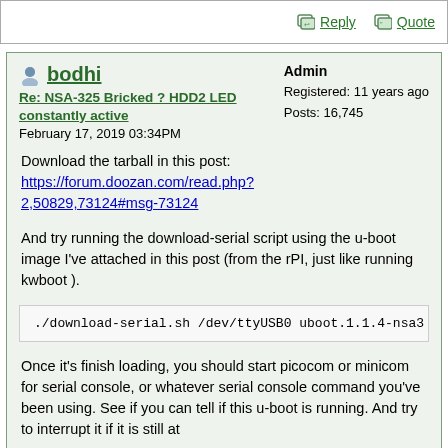Reply  Quote
bodhi
Re: NSA-325 Bricked ? HDD2 LED constantly active
February 17, 2019 03:34PM
Admin
Registered: 11 years ago
Posts: 16,745
Download the tarball in this post:
https://forum.doozan.com/read.php?2,50829,73124#msg-73124
And try running the download-serial script using the u-boot image I've attached in this post (from the rPI, just like running kwboot ).
./download-serial.sh /dev/ttyUSB0 uboot.1.1.4-nsa3
Once it's finish loading, you should start picocom or minicom for serial console, or whatever serial console command you've been using. See if you can tell if this u-boot is running. And try to interrupt it if it is still at